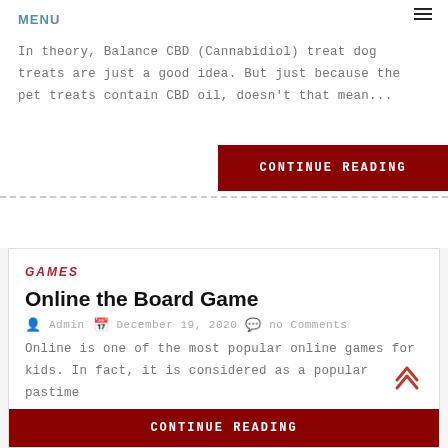MENU
Admin  December 23, 2020  no Comments
In theory, Balance CBD (Cannabidiol) treat dog treats are just a good idea. But just because the pet treats contain CBD oil, doesn't that mean...
CONTINUE READING
GAMES
Online the Board Game
Admin  December 19, 2020  no Comments
Online is one of the most popular online games for kids. In fact, it is considered as a popular pastime for preschoolers and elementary school...
CONTINUE READING